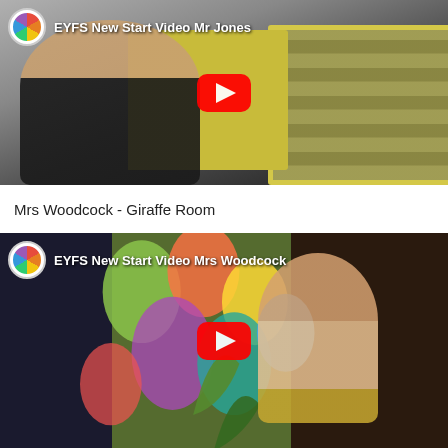[Figure (screenshot): YouTube video thumbnail showing man with glasses reading a book with elephants on yellow pages. Video title: EYFS New Start Video Mr Jones]
Mrs Woodcock - Giraffe Room
[Figure (screenshot): YouTube video thumbnail showing woman in front of colorful leaf/circle pattern background. Video title: EYFS New Start Video Mrs Woodcock]